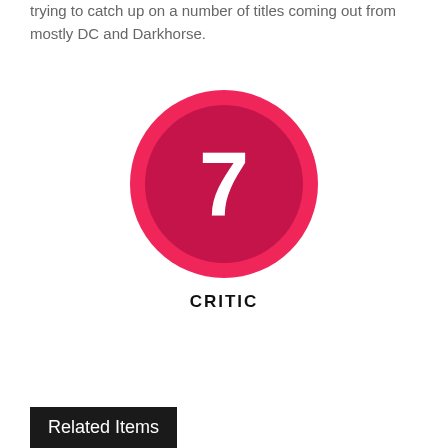trying to catch up on a number of titles coming out from mostly DC and Darkhorse.
[Figure (infographic): A circular score badge showing the number 7 in white text on a dark crimson inner circle, surrounded by a bright pink/red outer ring. Below the circle is the label CRITIC in bold black uppercase letters.]
Related Items